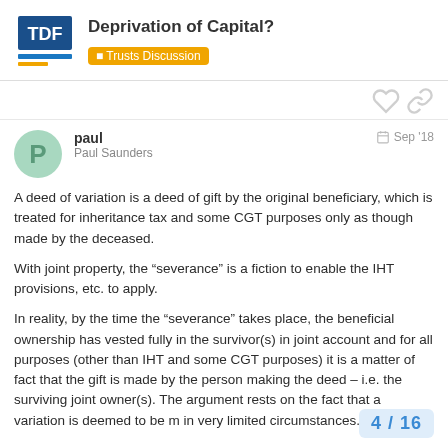Deprivation of Capital? — Trusts Discussion
paul
Paul Saunders
Sep '18
A deed of variation is a deed of gift by the original beneficiary, which is treated for inheritance tax and some CGT purposes only as though made by the deceased.
With joint property, the “severance” is a fiction to enable the IHT provisions, etc. to apply.
In reality, by the time the “severance” takes place, the beneficial ownership has vested fully in the survivor(s) in joint account and for all purposes (other than IHT and some CGT purposes) it is a matter of fact that the gift is made by the person making the deed – i.e. the surviving joint owner(s). The argument rests on the fact that a variation is deemed to be m in very limited circumstances.
4 / 16